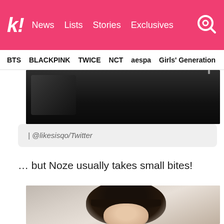k! News  Lists  Stories  Exclusives
BTS  BLACKPINK  TWICE  NCT  aespa  Girls' Generation
[Figure (photo): Dark image partially visible at top of content area]
| @likesisqo/Twitter
… but Noze usually takes small bites!
[Figure (photo): Photo of a person with dark hair, looking downward, in an indoor setting]